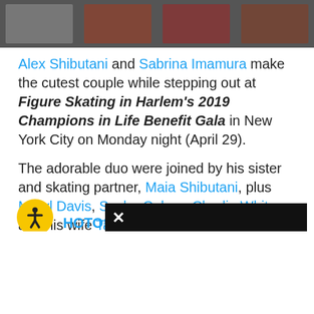[Figure (photo): A strip of photos at the top of the page showing figures, partially cropped, with orange/red coloring against a dark background.]
Alex Shibutani and Sabrina Imamura make the cutest couple while stepping out at Figure Skating in Harlem's 2019 Champions in Life Benefit Gala in New York City on Monday night (April 29).
The adorable duo were joined by his sister and skating partner, Maia Shibutani, plus Meryl Davis, Sasha Cohen, Charlie White and his wife Tanith White.
PHOTOS: Check out the latest pi…